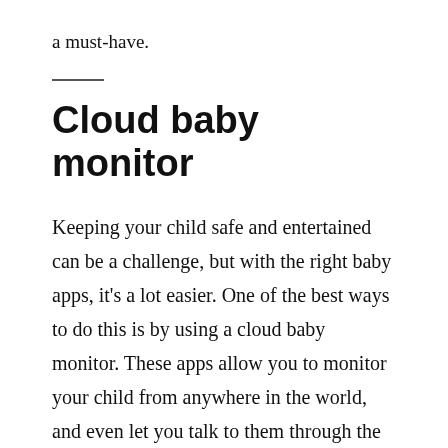a must-have.
Cloud baby monitor
Keeping your child safe and entertained can be a challenge, but with the right baby apps, it's a lot easier. One of the best ways to do this is by using a cloud baby monitor. These apps allow you to monitor your child from anywhere in the world, and even let you talk to them through the app. Additionally, they